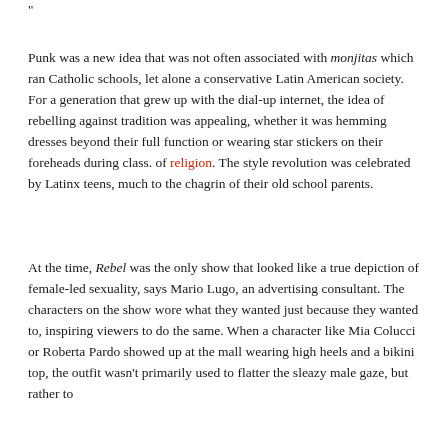”
Punk was a new idea that was not often associated with monjitas which ran Catholic schools, let alone a conservative Latin American society. For a generation that grew up with the dial-up internet, the idea of rebelling against tradition was appealing, whether it was hemming dresses beyond their full function or wearing star stickers on their foreheads during class. of religion. The style revolution was celebrated by Latinx teens, much to the chagrin of their old school parents.
At the time, Rebel was the only show that looked like a true depiction of female-led sexuality, says Mario Lugo, an advertising consultant. The characters on the show wore what they wanted just because they wanted to, inspiring viewers to do the same. When a character like Mia Colucci or Roberta Pardo showed up at the mall wearing high heels and a bikini top, the outfit wasn’t primarily used to flatter the sleazy male gaze, but rather to